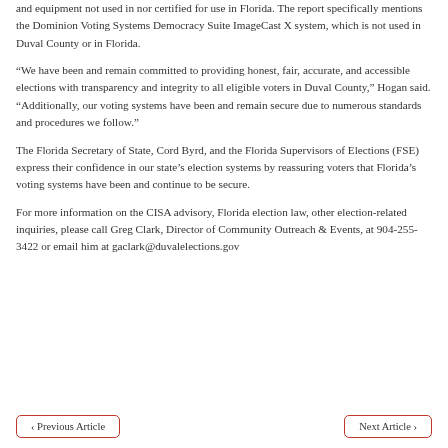and equipment not used in nor certified for use in Florida. The report specifically mentions the Dominion Voting Systems Democracy Suite ImageCast X system, which is not used in Duval County or in Florida.
“We have been and remain committed to providing honest, fair, accurate, and accessible elections with transparency and integrity to all eligible voters in Duval County,” Hogan said. “Additionally, our voting systems have been and remain secure due to numerous standards and procedures we follow.”
The Florida Secretary of State, Cord Byrd, and the Florida Supervisors of Elections (FSE) express their confidence in our state’s election systems by reassuring voters that Florida’s voting systems have been and continue to be secure.
For more information on the CISA advisory, Florida election law, other election-related inquiries, please call Greg Clark, Director of Community Outreach & Events, at 904-255-3422 or email him at gaclark@duvalelections.gov
< Previous Article
Next Article >